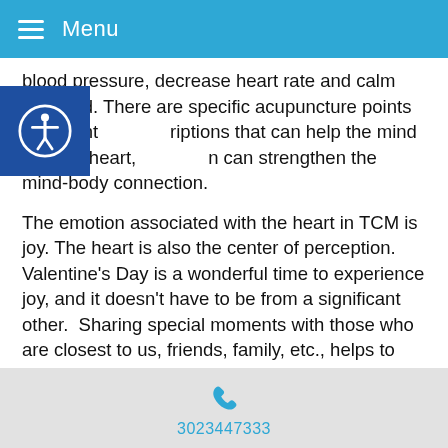Menu
blood pressure, decrease heart rate and calm the mind. There are specific acupuncture points and point prescriptions that can help the mind and the heart, and can strengthen the mind-body connection.
The emotion associated with the heart in TCM is joy. The heart is also the center of perception. Valentine’s Day is a wonderful time to experience joy, and it doesn’t have to be from a significant other.  Sharing special moments with those who are closest to us, friends, family, etc., helps to keep the heart full of joy. Even acts of “selfishness” can have profound effects on the mind, body and soul. Spending time alone can also keep the heart healthy, as it gives us time to reflect, relax and take in the beauty all around us.
3023447333